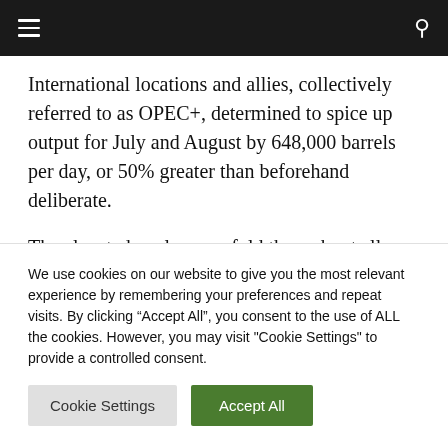Navigation bar with hamburger menu and search icon
International locations and allies, collectively referred to as OPEC+, determined to spice up output for July and August by 648,000 barrels per day, or 50% greater than beforehand deliberate.
The elevated goal was unfold throughout all OPEC+ members. Nevertheless, many members have little room to ramp up output, together with
We use cookies on our website to give you the most relevant experience by remembering your preferences and repeat visits. By clicking "Accept All", you consent to the use of ALL the cookies. However, you may visit "Cookie Settings" to provide a controlled consent.